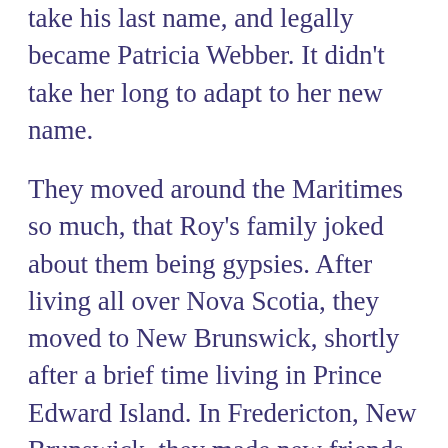then decided to go the traditional route and take his last name, and legally became Patricia Webber.  It didn't take her long to adapt to her new name.
They moved around the Maritimes so much, that Roy's family joked about them being gypsies.  After living all over Nova Scotia, they moved to New Brunswick, shortly after a brief time living in Prince Edward Island.  In Fredericton, New Brunswick,  they made new friends, had roommates, and eventually bought their own mini home.  They had cats constantly as pets for many years.  After living in apartments for the majority of the years they were together, Tish decided that it was